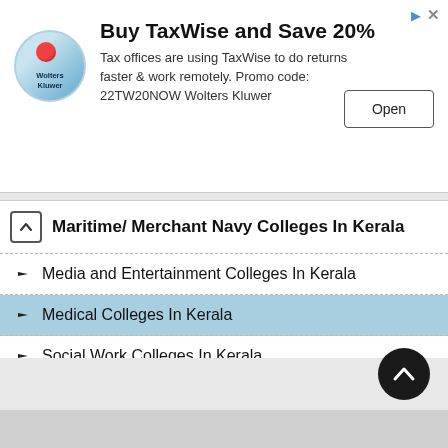[Figure (screenshot): Wolters Kluwer TaxWise advertisement banner with logo, title, body text, and Open button]
Buy TaxWise and Save 20%
Tax offices are using TaxWise to do returns faster & work remotely. Promo code: 22TW20NOW Wolters Kluwer
Maritime/ Merchant Navy Colleges In Kerala
Media and Entertainment Colleges In Kerala
Medical Colleges In Kerala
Social Work Colleges In Kerala
Sports Education and Training Colleges In Kerala
Teachers Training and Education Colleges In Kerala
Training/ Coaching/ Research Colleges In Kerala
Travel, Tourism, Hotel and Hospitality Management Colleges In Kerala